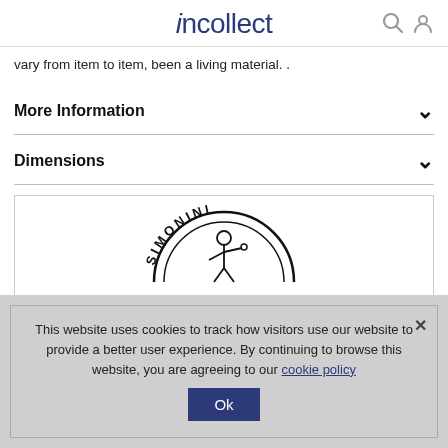incollect
vary from item to item, been a living material. .
More Information
Dimensions
[Figure (logo): Simonini Industrial Design circular logo with figure illustration]
This website uses cookies to track how visitors use our website to provide a better user experience. By continuing to browse this website, you are agreeing to our cookie policy  Ok